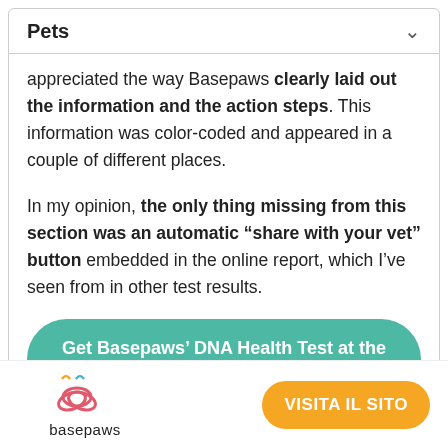Pets
appreciated the way Basepaws clearly laid out the information and the action steps. This information was color-coded and appeared in a couple of different places.
In my opinion, the only thing missing from this section was an automatic “share with your vet” button embedded in the online report, which I've seen from in other test results.
Get Basepaws’ DNA Health Test at the Best Price! ▶
Provides Cat Lifestyle
[Figure (logo): Basepaws logo with stylized cat DNA graphic and text 'basepaws']
VISITA IL SITO